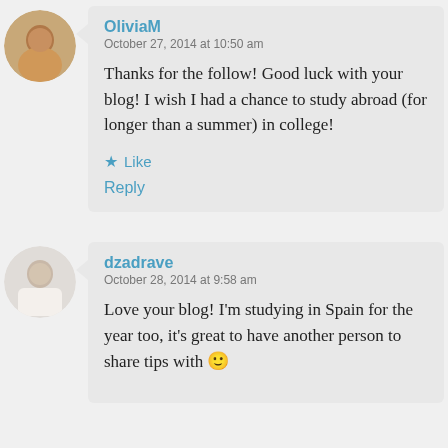[Figure (photo): Avatar photo of OliviaM, a person with warm tones]
OliviaM
October 27, 2014 at 10:50 am

Thanks for the follow! Good luck with your blog! I wish I had a chance to study abroad (for longer than a summer) in college!

★ Like

Reply
[Figure (photo): Avatar photo of dzadrave, a person in white]
dzadrave
October 28, 2014 at 9:58 am

Love your blog! I'm studying in Spain for the year too, it's great to have another person to share tips with 🙂